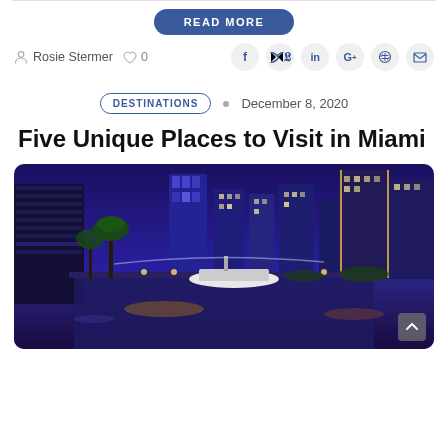READ MORE
Rosie Stermer   ♡ 0
DESTINATIONS  •  December 8, 2020
Five Unique Places to Visit in Miami
[Figure (photo): Nighttime aerial view of Miami city skyline with illuminated skyscrapers reflected in a waterway, with a yacht docked in the foreground and palm trees along the promenade.]